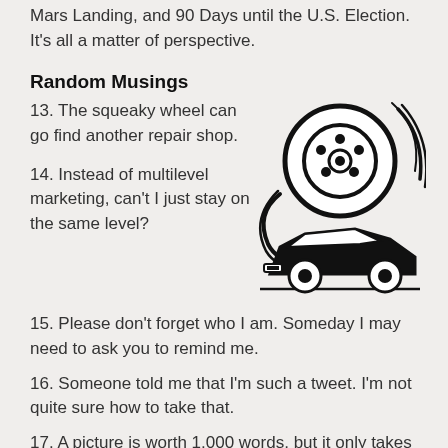Mars Landing, and 90 Days until the U.S. Election. It's all a matter of perspective.
Random Musings
13. The squeaky wheel can go find another repair shop.
[Figure (illustration): Black and white illustration of a spinning car wheel/brake disc with motion lines, and below it a side-view silhouette of a car.]
14. Instead of multilevel marketing, can't I just stay on the same level?
15. Please don't forget who I am. Someday I may need to ask you to remind me.
16. Someone told me that I'm such a tweet. I'm not quite sure how to take that.
17. A picture is worth 1,000 words, but it only takes one